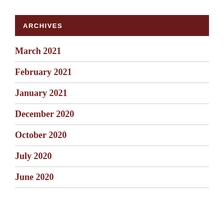ARCHIVES
March 2021
February 2021
January 2021
December 2020
October 2020
July 2020
June 2020